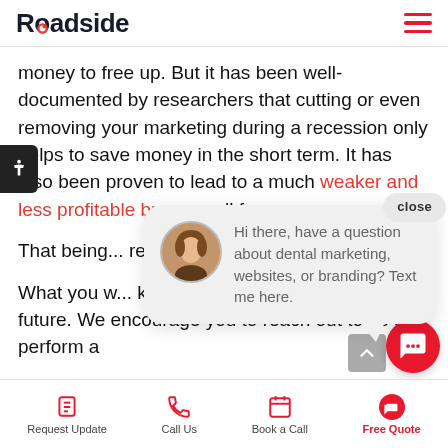Roadside
money to free up. But it has been well-documented by researchers that cutting or even removing your marketing during a recession only helps to save money in the short term. It has also been proven to lead to a much weaker and less profitable brand overall for your...
That being said, there are ways to make smart reductions.
What you want to avoid is making any knee-jerk reactions, which will cost you much more in the future. We encourage you to reach out to us to perform a
[Figure (screenshot): Chat popup with avatar photo saying: Hi there, have a question about dental marketing, websites, or branding? Text me here. With a close button.]
Request Update  Call Us  Book a Call  Free Quote